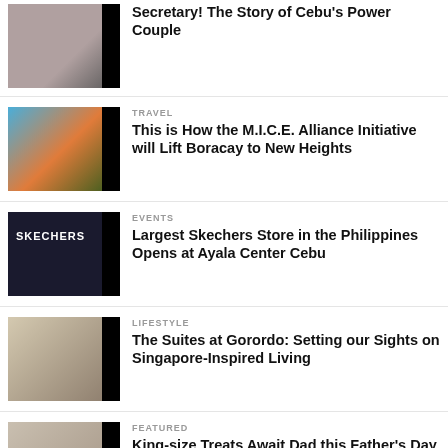Secretary! The Story of Cebu's Power Couple
TRAVEL
This is How the M.I.C.E. Alliance Initiative will Lift Boracay to New Heights
EVENTS
Largest Skechers Store in the Philippines Opens at Ayala Center Cebu
LIFESTYLE
The Suites at Gorordo: Setting our Sights on Singapore-Inspired Living
FEATURED
King-size Treats Await Dad this Father's Day at Seda Central Bloc
EATS